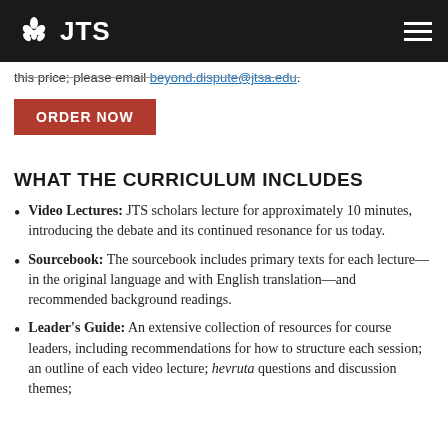JTS
this price, please email beyond.dispute@jtsa.edu.
ORDER NOW
WHAT THE CURRICULUM INCLUDES
Video Lectures: JTS scholars lecture for approximately 10 minutes, introducing the debate and its continued resonance for us today.
Sourcebook: The sourcebook includes primary texts for each lecture—in the original language and with English translation—and recommended background readings.
Leader's Guide: An extensive collection of resources for course leaders, including recommendations for how to structure each session; an outline of each video lecture; hevruta questions and discussion themes;